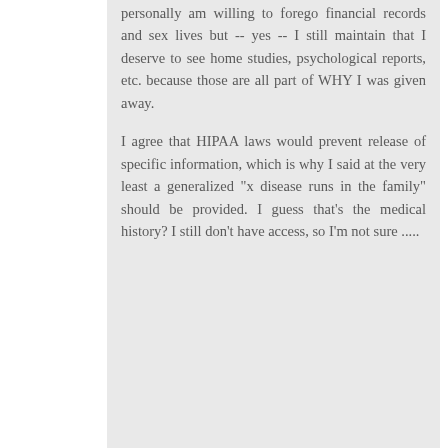personally am willing to forego financial records and sex lives but -- yes -- I still maintain that I deserve to see home studies, psychological reports, etc. because those are all part of WHY I was given away.
I agree that HIPAA laws would prevent release of specific information, which is why I said at the very least a generalized "x disease runs in the family" should be provided. I guess that's the medical history? I still don't have access, so I'm not sure .....
Reply
Becca  June 5, 2016 at 2:14 PM
I'm so glad to see you address this issue. The agency that handled my adoption in the early '60s refuses to provide me with information about the three months after birth that I was in their custody. (Actually, what they said was that